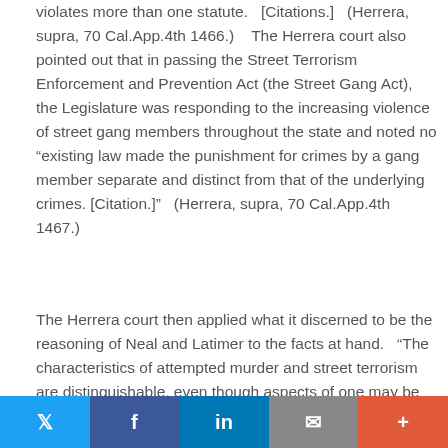violates more than one statute.   [Citations.]   (Herrera, supra, 70 Cal.App.4th 1466.)    The Herrera court also pointed out that in passing the Street Terrorism Enforcement and Prevention Act (the Street Gang Act), the Legislature was responding to the increasing violence of street gang members throughout the state and noted no “existing law made the punishment for crimes by a gang member separate and distinct from that of the underlying crimes. [Citation.]”   (Herrera, supra, 70 Cal.App.4th 1467.)
The Herrera court then applied what it discerned to be the reasoning of Neal and Latimer to the facts at hand.   “The characteristics of attempted murder and street terrorism are distinguishable, even though aspects of one may be similar to those of the other.”   (Herrera, supra, 70 Cal.App.4th 1466.)    In concluding section 654 did not apply, the court relied on the distinctions between the requisite intents for the two